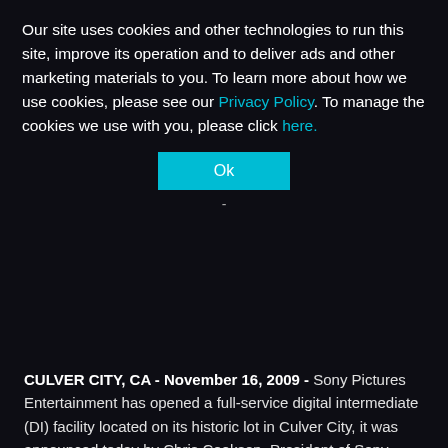Our site uses cookies and other technologies to run this site, improve its operation and to deliver ads and other marketing materials to you. To learn more about how we use cookies, please see our Privacy Policy. To manage the cookies we use with you, please click here.
[Figure (other): Cyan/teal 'Ok' button centered on dark background]
CULVER CITY, CA - November 16, 2009 - Sony Pictures Entertainment has opened a full-service digital intermediate (DI) facility located on its historic lot in Culver City, it was announced today by Chris Cookson, President of Sony Pictures Technologies.
"Sony Pictures is uniquely positioned at the intersection of entertainment and technology," said Cookson. "Colorworks represents an important blending of the highest level of talent and the most powerful tools in our industry."
The 14,000 square foot center, housed in the studio's "Stage 6," features state-of-the-art technology offering real-time, 4K processing in a full digital workflow for top filmmakers from across...